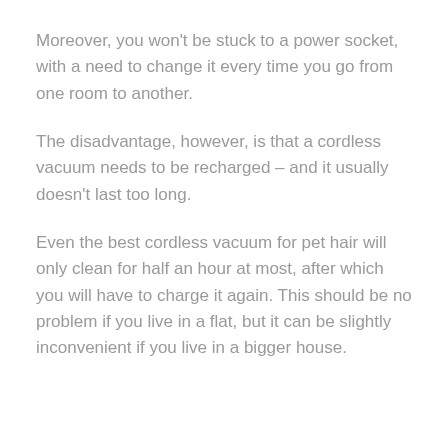Moreover, you won't be stuck to a power socket, with a need to change it every time you go from one room to another.
The disadvantage, however, is that a cordless vacuum needs to be recharged – and it usually doesn't last too long.
Even the best cordless vacuum for pet hair will only clean for half an hour at most, after which you will have to charge it again. This should be no problem if you live in a flat, but it can be slightly inconvenient if you live in a bigger house.